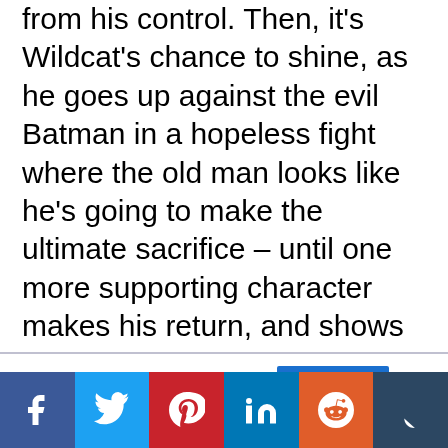from his control. Then, it's Wildcat's chance to shine, as he goes up against the evil Batman in a hopeless fight where the old man looks like he's going to make the ultimate sacrifice – until one more supporting character makes his return, and shows off a new skill that was kind of inevitable, but still a cool twist. I don't much like the heavy hints as to the evil Batman's identity – it's kind of the most obvious possible answer – but I do love that hope, underdogs, and heroism seem to be making a comeback in this world.
This website uses cookies.
Accept
Social share buttons: Facebook, Twitter, Pinterest, LinkedIn, Reddit, Tumblr